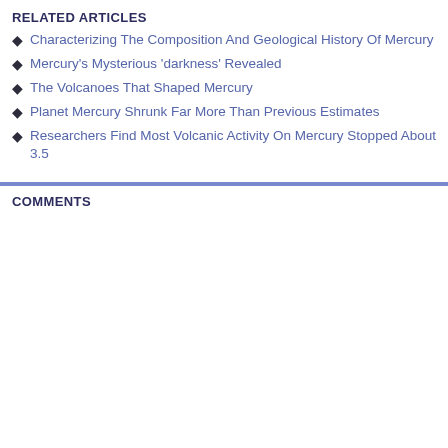RELATED ARTICLES
Characterizing The Composition And Geological History Of Mercury
Mercury's Mysterious 'darkness' Revealed
The Volcanoes That Shaped Mercury
Planet Mercury Shrunk Far More Than Previous Estimates
Researchers Find Most Volcanic Activity On Mercury Stopped About 3.5
COMMENTS